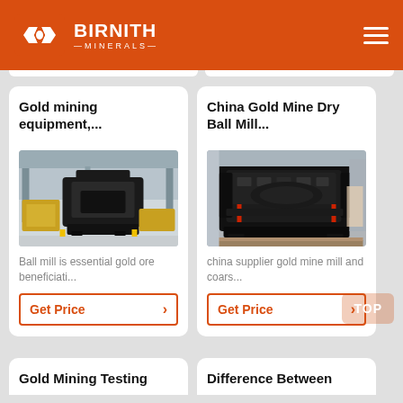BIRNITH MINERALS
Gold mining equipment,...
[Figure (photo): Large black industrial mining machine (ball mill or crusher) in a factory/warehouse setting]
Ball mill is essential gold ore beneficiati...
Get Price
China Gold Mine Dry Ball Mill...
[Figure (photo): Large black industrial impact crusher machine, outdoors]
china supplier gold mine mill and coars...
Get Price
Gold Mining Testing
Difference Between